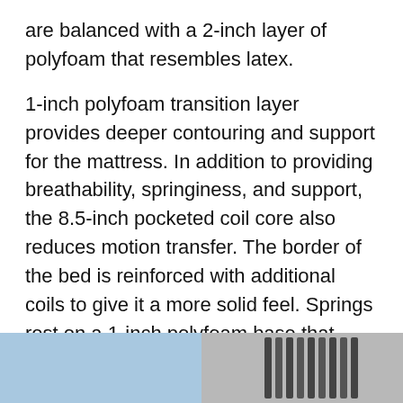are balanced with a 2-inch layer of polyfoam that resembles latex.
1-inch polyfoam transition layer provides deeper contouring and support for the mattress. In addition to providing breathability, springiness, and support, the 8.5-inch pocketed coil core also reduces motion transfer. The border of the bed is reinforced with additional coils to give it a more solid feel. Springs rest on a 1-inch polyfoam base that provides structural support for them.
[Figure (photo): Two side-by-side images at the bottom of the page: left image shows a light blue background, right image shows a close-up of mattress coil springs in gray tones.]